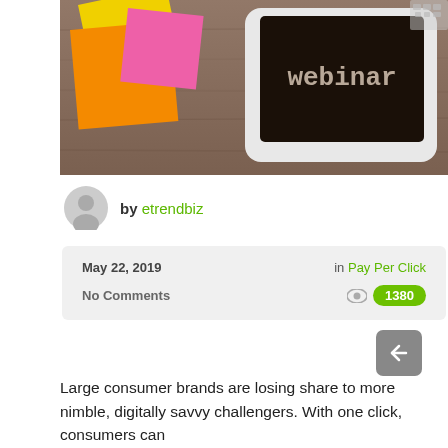[Figure (photo): Tablet displaying the word 'webinar' on a dark screen, with yellow, orange, and pink sticky notes on a wooden table, keyboard partially visible in corner]
by etrendbiz
May 22, 2019    in Pay Per Click
No Comments    1380
Large consumer brands are losing share to more nimble, digitally savvy challengers. With one click, consumers can